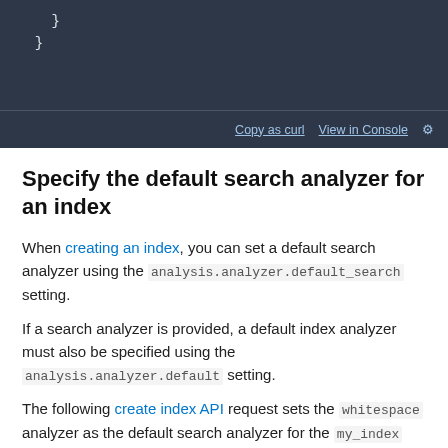[Figure (screenshot): Dark-themed code block showing closing braces of JSON code, with 'Copy as curl' and 'View in Console' links at the bottom right]
Specify the default search analyzer for an index
When creating an index, you can set a default search analyzer using the analysis.analyzer.default_search setting.
If a search analyzer is provided, a default index analyzer must also be specified using the analysis.analyzer.default setting.
The following create index API request sets the whitespace analyzer as the default search analyzer for the my index index.